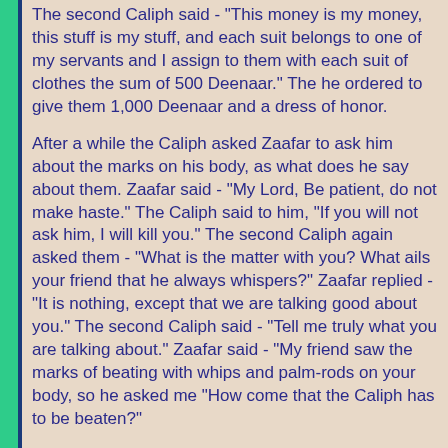The second Caliph said - "This money is my money, this stuff is my stuff, and each suit belongs to one of my servants and I assign to them with each suit of clothes the sum of 500 Deenaar." The he ordered to give them 1,000 Deenaar and a dress of honor.
After a while the Caliph asked Zaafar to ask him about the marks on his body, as what does he say about them. Zaafar said - "My Lord, Be patient, do not make haste." The Caliph said to him, "If you will not ask him, I will kill you." The second Caliph again asked them - "What is the matter with you? What ails your friend that he always whispers?" Zaafar replied - "It is nothing, except that we are talking good about you." The second Caliph said - "Tell me truly what you are talking about." Zaafar said - "My friend saw the marks of beating with whips and palm-rods on your body, so he asked me "How come that the Caliph has to be beaten?"
When the second Caliph heard this, he smiled and said - "My story is very strange. I am  not the